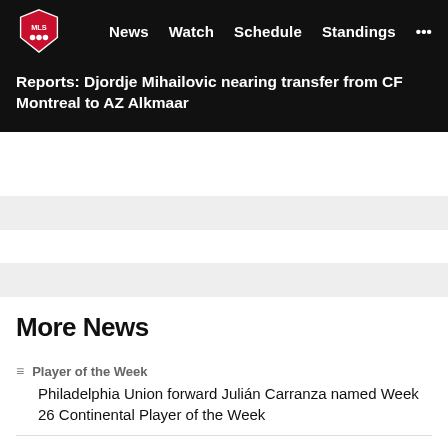MLS — News | Watch | Schedule | Standings | ...
Reports: Djordje Mihailovic nearing transfer from CF Montreal to AZ Alkmaar
More News
Player of the Week — Philadelphia Union forward Julián Carranza named Week 26 Continental Player of the Week
National Writer: Charles Boehm